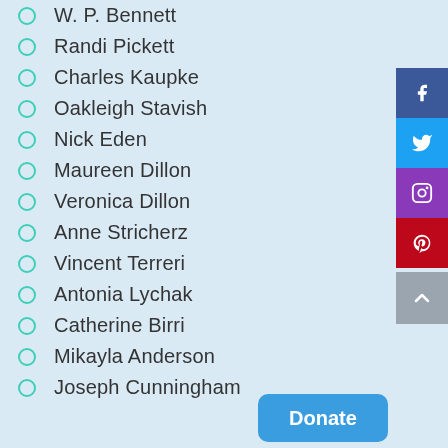W. P. Bennett
Randi Pickett
Charles Kaupke
Oakleigh Stavish
Nick Eden
Maureen Dillon
Veronica Dillon
Anne Stricherz
Vincent Terreri
Antonia Lychak
Catherine Birri
Mikayla Anderson
Joseph Cunningham